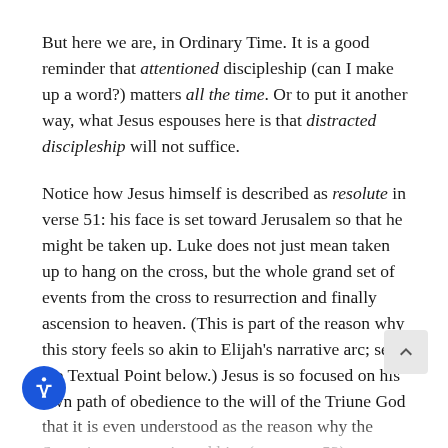But here we are, in Ordinary Time. It is a good reminder that attentioned discipleship (can I make up a word?) matters all the time. Or to put it another way, what Jesus espouses here is that distracted discipleship will not suffice.
Notice how Jesus himself is described as resolute in verse 51: his face is set toward Jerusalem so that he might be taken up. Luke does not just mean taken up to hang on the cross, but the whole grand set of events from the cross to resurrection and finally ascension to heaven. (This is part of the reason why this story feels so akin to Elijah's narrative arc; see the Textual Point below.) Jesus is so focused on his own path of obedience to the will of the Triune God that it is even understood as the reason why the Samaritan town rejected him (see verse 53).
In fact, their experience in this town makes up our first lesson about distracted discipling—especially underscoring how easy it is to let other realms of discipleship creep in. As you might already be aware, there was “no love lost” between the Jewish and Samaritan people. So when John and James ask Jesus if they should call down some vengeful judgement on the town that